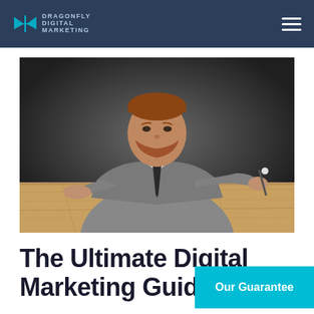Dragonfly Digital Marketing
[Figure (photo): A man with a red beard wearing a grey suit and black tie sits at a wooden table, holding a pen or small object toward the camera against a dark background.]
The Ultimate Digital Marketing Guide to
Our Guarantee